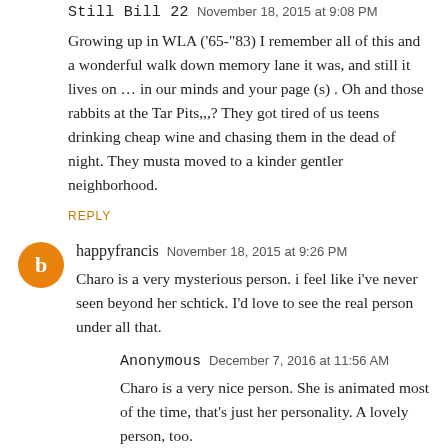Still Bill 22  November 18, 2015 at 9:08 PM
Growing up in WLA ('65-"83) I remember all of this and a wonderful walk down memory lane it was, and still it lives on … in our minds and your page (s) . Oh and those rabbits at the Tar Pits,,,? They got tired of us teens drinking cheap wine and chasing them in the dead of night. They musta moved to a kinder gentler neighborhood.
REPLY
happyfrancis  November 18, 2015 at 9:26 PM
Charo is a very mysterious person. i feel like i've never seen beyond her schtick. I'd love to see the real person under all that.
Anonymous  December 7, 2016 at 11:56 AM
Charo is a very nice person. She is animated most of the time, that's just her personality. A lovely person, too.
REPLY